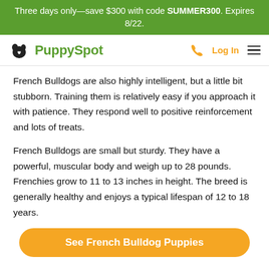Three days only—save $300 with code SUMMER300. Expires 8/22.
[Figure (logo): PuppySpot logo with dog icon, navigation bar with phone icon, Log In link, and hamburger menu]
French Bulldogs are also highly intelligent, but a little bit stubborn. Training them is relatively easy if you approach it with patience. They respond well to positive reinforcement and lots of treats.
French Bulldogs are small but sturdy. They have a powerful, muscular body and weigh up to 28 pounds. Frenchies grow to 11 to 13 inches in height. The breed is generally healthy and enjoys a typical lifespan of 12 to 18 years.
See French Bulldog Puppies